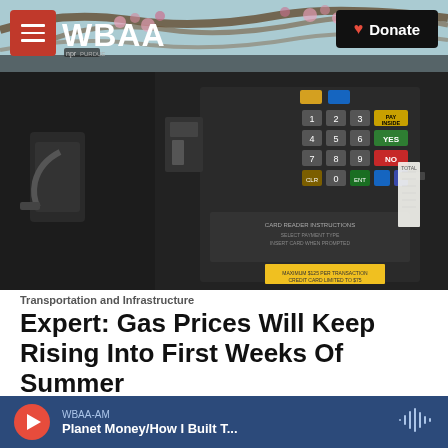WBAA | Donate
[Figure (photo): Close-up photo of a gas pump payment keypad with numbered keys, PAY INSIDE button in yellow, YES button in green, NO button in red, and a receipt coming out]
Transportation and Infrastructure
Expert: Gas Prices Will Keep Rising Into First Weeks Of Summer
March 21, 2016
Gas prices have been on the rise for several weeks. The
WBAA-AM | Planet Money/How I Built T...